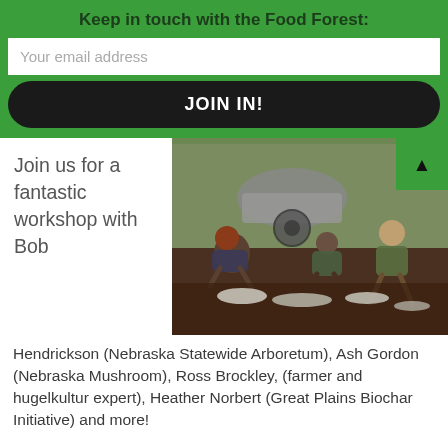Keep in touch with the Food Forest:
Your email address
JOIN IN!
Join us for a fantastic workshop with Bob
[Figure (photo): People working in a garden bed planting or transplanting, kneeling on soil with a wheelbarrow in the background]
Hendrickson (Nebraska Statewide Arboretum), Ash Gordon (Nebraska Mushroom), Ross Brockley, (farmer and hugelkultur expert), Heather Norbert (Great Plains Biochar Initiative) and more!
Learn how to improve soil fertility and water retention using techniques such as hugelkultur and mushroom